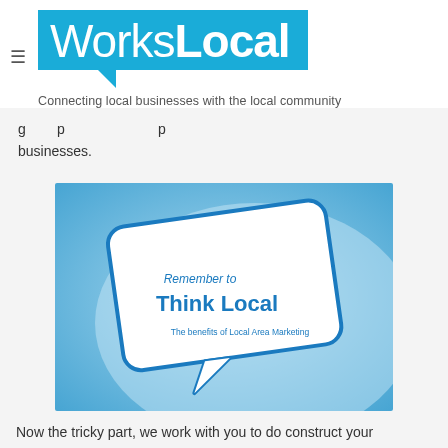WorksLocal — Connecting local businesses with the local community
businesses.
[Figure (illustration): Blue gradient image with a speech bubble containing the text 'Remember to Think Local — The benefits of Local Area Marketing']
Now the tricky part, we work with you to do construct your